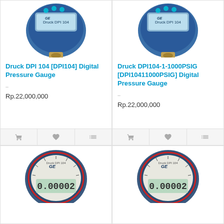[Figure (photo): Druck DPI 104 digital pressure gauge product photo - blue circular gauge with display]
Druck DPI 104 [DPI104] Digital Pressure Gauge
..
Rp.22,000,000
[Figure (photo): Druck DPI104-1-1000PSIG digital pressure gauge product photo - blue circular gauge with display]
Druck DPI104-1-1000PSIG [DPI10411000PSIG] Digital Pressure Gauge
..
Rp.22,000,000
[Figure (photo): Druck DPI 104 digital pressure gauge product photo showing circular gauge with digital readout displaying 0.00002]
[Figure (photo): Druck DPI 104 digital pressure gauge product photo showing circular gauge with digital readout displaying 0.00002]